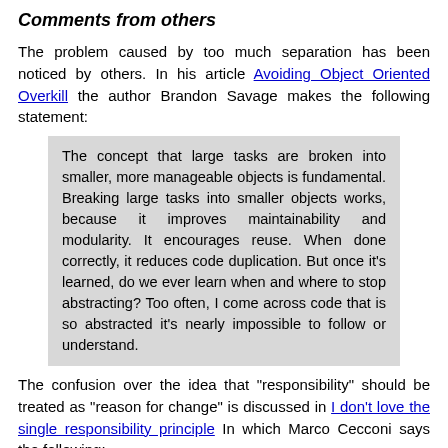Comments from others
The problem caused by too much separation has been noticed by others. In his article Avoiding Object Oriented Overkill the author Brandon Savage makes the following statement:
The concept that large tasks are broken into smaller, more manageable objects is fundamental. Breaking large tasks into smaller objects works, because it improves maintainability and modularity. It encourages reuse. When done correctly, it reduces code duplication. But once it's learned, do we ever learn when and where to stop abstracting? Too often, I come across code that is so abstracted it's nearly impossible to follow or understand.
The confusion over the idea that "responsibility" should be treated as "reason for change" is discussed in I don't love the single responsibility principle In which Marco Cecconi says the following:
The purpose of classes is to organize code as to